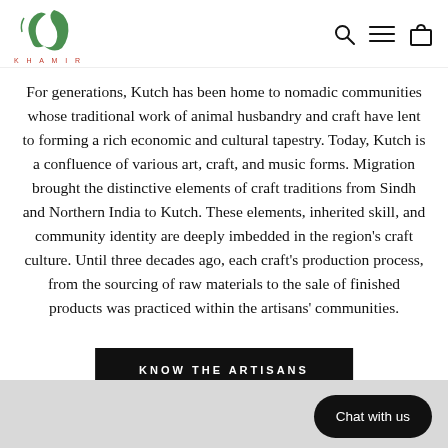KHAMIR (logo with nav icons: search, menu, bag)
For generations, Kutch has been home to nomadic communities whose traditional work of animal husbandry and craft have lent to forming a rich economic and cultural tapestry. Today, Kutch is a confluence of various art, craft, and music forms. Migration brought the distinctive elements of craft traditions from Sindh and Northern India to Kutch. These elements, inherited skill, and community identity are deeply imbedded in the region's craft culture. Until three decades ago, each craft's production process, from the sourcing of raw materials to the sale of finished products was practiced within the artisans' communities.
KNOW THE ARTISANS
Chat with us